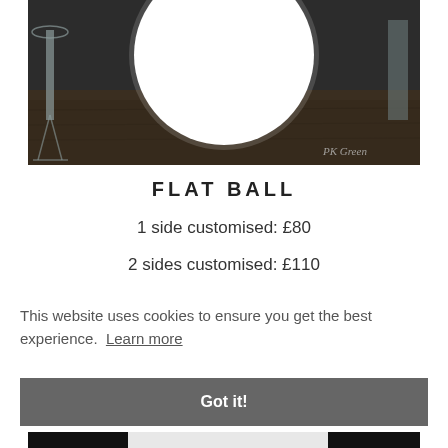[Figure (photo): A white glowing ball/lamp on a dark wooden surface, with champagne glasses visible in the background. Watermark 'PK Green' in bottom right corner.]
FLAT BALL
1 side customised: £80
2 sides customised: £110
This website uses cookies to ensure you get the best experience.  Learn more
Got it!
[Figure (photo): Partial photo of a person wearing black and white, cropped at bottom of page.]